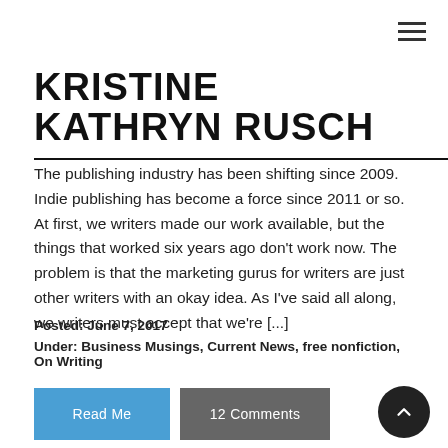≡
KRISTINE KATHRYN RUSCH
The publishing industry has been shifting since 2009. Indie publishing has become a force since 2011 or so. At first, we writers made our work available, but the things that worked six years ago don't work now. The problem is that the marketing gurus for writers are just other writers with an okay idea. As I've said all along, we writers must accept that we're [...]
Posted: June 7, 2017
Under: Business Musings, Current News, free nonfiction, On Writing
Read Me
12 Comments